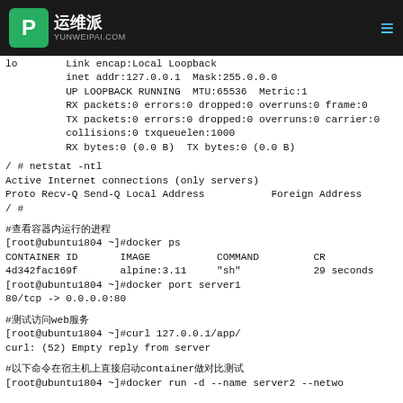运维派 YUNWEIPAI.COM
lo        Link encap:Local Loopback
          inet addr:127.0.0.1  Mask:255.0.0.0
          UP LOOPBACK RUNNING  MTU:65536  Metric:1
          RX packets:0 errors:0 dropped:0 overruns:0 frame:0
          TX packets:0 errors:0 dropped:0 overruns:0 carrier:0
          collisions:0 txqueuelen:1000
          RX bytes:0 (0.0 B)  TX bytes:0 (0.0 B)
/ # netstat -ntl
Active Internet connections (only servers)
Proto Recv-Q Send-Q Local Address           Foreign Address
/ #
#查看容器内运行的进程
[root@ubuntu1804 ~]#docker ps
CONTAINER ID       IMAGE           COMMAND         CR
4d342fac169f       alpine:3.11     "sh"            29 seconds
[root@ubuntu1804 ~]#docker port server1
80/tcp -> 0.0.0.0:80
#测试访问web服务
[root@ubuntu1804 ~]#curl 127.0.0.1/app/
curl: (52) Empty reply from server
#以下命令在宿主机上直接启动container做对比测试
[root@ubuntu1804 ~]#docker run -d --name server2 --netwo